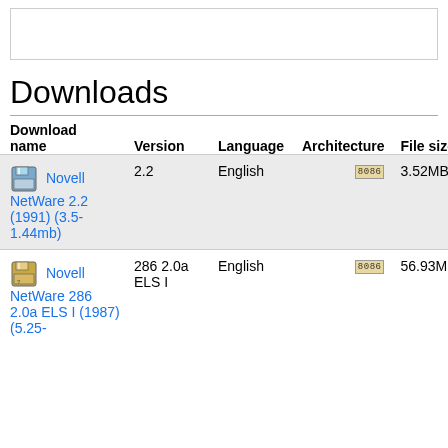[Figure (screenshot): Empty box / image placeholder at top]
Downloads
| Download name | Version | Language | Architecture | File size |
| --- | --- | --- | --- | --- |
| Novell NetWare 2.2 (1991) (3.5-1.44mb) | 2.2 | English | 8086 | 3.52MB |
| Novell NetWare 286 2.0a ELS I (1987) (5.25-...) | 286 2.0a ELS I | English | 8086 | 56.93MB |